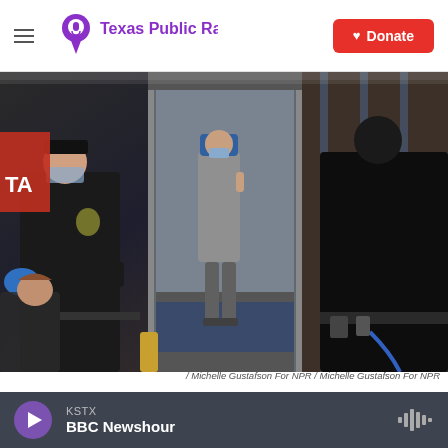Texas Public Radio | Donate
[Figure (photo): Two police officers in black uniforms assist a woman onto a subway train. One officer on the left wears blue medical gloves. A passenger in a grey jacket and blue hat stands in the train doorway. The scene is inside a subway car on the Market-Frankford Line.]
/ Michelle Gustafson For NPR / Michelle Gustafson For NPR
Bires (left) assists a woman onto the train at the 11th Street stop on the Market-Frankford Line.
KSTX BBC Newshour